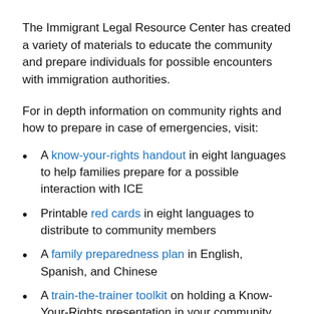The Immigrant Legal Resource Center has created a variety of materials to educate the community and prepare individuals for possible encounters with immigration authorities.
For in depth information on community rights and how to prepare in case of emergencies, visit:
A know-your-rights handout in eight languages to help families prepare for a possible interaction with ICE
Printable red cards in eight languages to distribute to community members
A family preparedness plan in English, Spanish, and Chinese
A train-the-trainer toolkit on holding a Know-Your-Rights presentation in your community